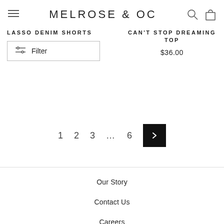MELROSE AND OC
LASSO DENIM SHORTS
Filter
CAN'T STOP DREAMING TOP
$36.00
1  2  3  ...  6  >
Our Story
Contact Us
Careers
Return Policy